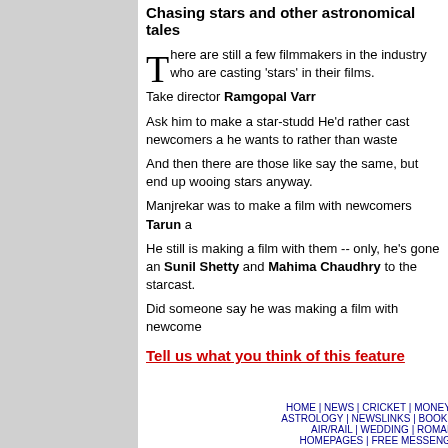Chasing stars and other astronomical tales
There are still a few filmmakers in the industry who are casting 'stars' in their films.
Take director Ramgopal Varr
Ask him to make a star-studd He'd rather cast newcomers a he wants to rather than waste
And then there are those like say the same, but end up wooing stars anyway.
Manjrekar was to make a film with newcomers Tarun a
He still is making a film with them -- only, he's gone an Sunil Shetty and Mahima Chaudhry to the starcast.
Did someone say he was making a film with newcome
Tell us what you think of this feature
HOME | NEWS | CRICKET | MONEY | SPORTS | MOVIES | CHAT | ASTROLOGY | NEWSLINKS | BOOK SHOP | MUSIC SHOP | GIFT | AIR/RAIL | WEDDING | ROMANCE | WEATHER | WO | HOMEPAGES | FREE MESSENGER | FREE EMAIL | CON